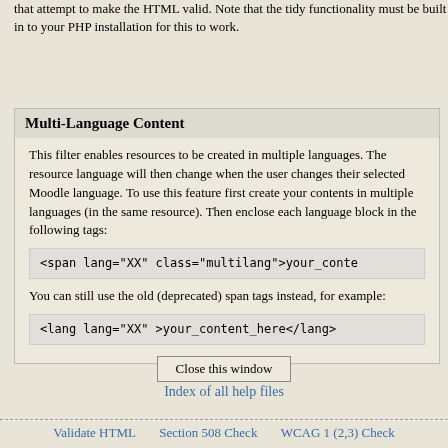that attempt to make the HTML valid. Note that the tidy functionality must be built in to your PHP installation for this to work.
Multi-Language Content
This filter enables resources to be created in multiple languages. The resource language will then change when the user changes their selected Moodle language. To use this feature first create your contents in multiple languages (in the same resource). Then enclose each language block in the following tags:
<span lang="XX" class="multilang">your_conte
You can still use the old (deprecated) span tags instead, for example:
<lang lang="XX" >your_content_here</lang>
Close this window
Index of all help files
Validate HTML   Section 508 Check   WCAG 1 (2,3) Check